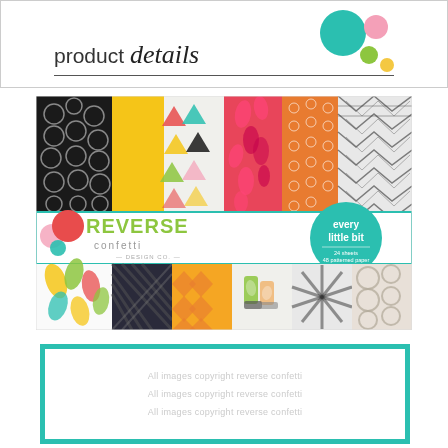product details
[Figure (photo): Product photo of Reverse Confetti 'every little bit' patterned paper pad showing colorful patterned papers including polka dots, geometric triangles, floral/ikat, and zigzag designs, with the Reverse Confetti Design Co logo and teal circular badge reading 'every little bit']
[Figure (other): White card with teal border containing watermark text 'All images copyright reverse confetti' repeated three times in light gray]